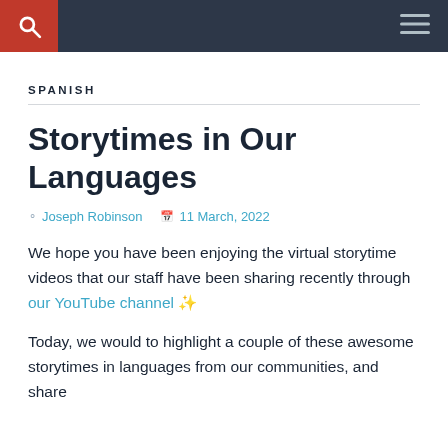SPANISH
Storytimes in Our Languages
Joseph Robinson  11 March, 2022
We hope you have been enjoying the virtual storytime videos that our staff have been sharing recently through our YouTube channel ✨
Today, we would to highlight a couple of these awesome storytimes in languages from our communities, and share